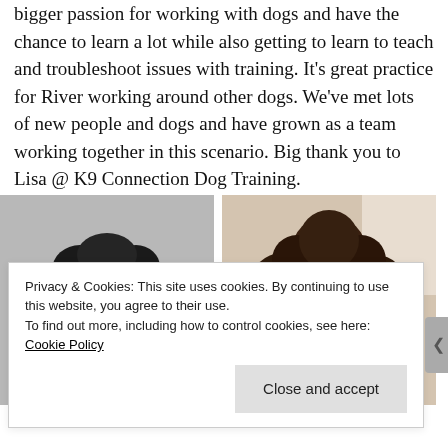bigger passion for working with dogs and have the chance to learn a lot while also getting to learn to teach and troubleshoot issues with training. It's great practice for River working around other dogs. We've met lots of new people and dogs and have grown as a team working together in this scenario. Big thank you to Lisa @ K9 Connection Dog Training.
[Figure (photo): Overhead/top-down photo of a dark curly-haired dog (poodle) lying down, with a brown harness and what appears to be a silver bowl nearby, on a grey floor.]
[Figure (photo): Close-up photo of a dark brown standard poodle's face looking up at the camera, tongue out, with a chain collar, against a light beige background.]
Privacy & Cookies: This site uses cookies. By continuing to use this website, you agree to their use.
To find out more, including how to control cookies, see here: Cookie Policy
Close and accept